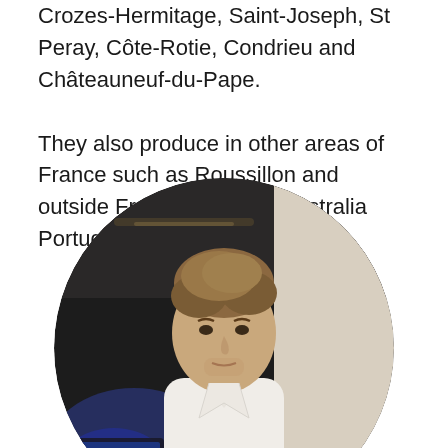Crozes-Hermitage, Saint-Joseph, St Peray, Cote-Rotie, Condrieu and Châteauneuf-du-Pape.
They also produce in other areas of France such as Roussillon and outside France including Australia Portugal and Germany
[Figure (photo): Circular-cropped portrait photo of a young man with short light brown hair, wearing a white collared shirt, seated or standing in a dimly lit room with dark ceiling and ambient blue/purple lighting in the background.]